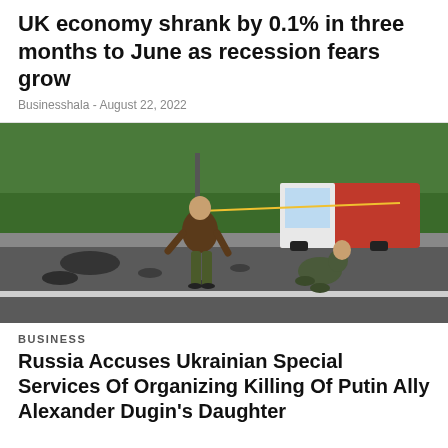UK economy shrank by 0.1% in three months to June as recession fears grow
Businesshala - August 22, 2022
[Figure (photo): Two men at a road accident/explosion scene. One man standing in a brown jacket and green trousers, another crouching in camouflage gear. Debris on the road, a red and white van in the background with trees.]
BUSINESS
Russia Accuses Ukrainian Special Services Of Organizing Killing Of Putin Ally Alexander Dugin's Daughter